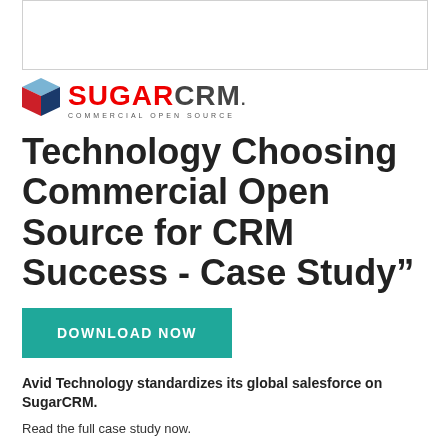[Figure (other): White rectangle placeholder image area at top of page]
[Figure (logo): SugarCRM logo with 3D cube icon in red and blue, text SUGARCRM in red and gray, tagline COMMERCIAL OPEN SOURCE]
Technology Choosing Commercial Open Source for CRM Success - Case Study”
DOWNLOAD NOW
Avid Technology standardizes its global salesforce on SugarCRM.
Read the full case study now.